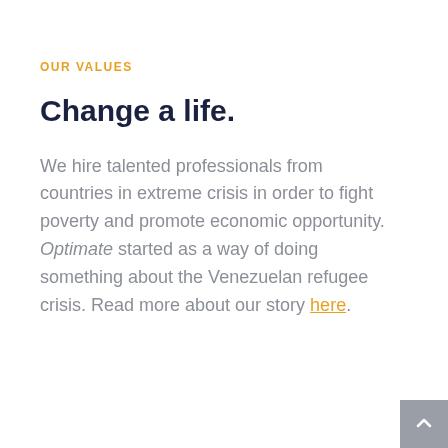OUR VALUES
Change a life.
We hire talented professionals from countries in extreme crisis in order to fight poverty and promote economic opportunity. Optimate started as a way of doing something about the Venezuelan refugee crisis. Read more about our story here.